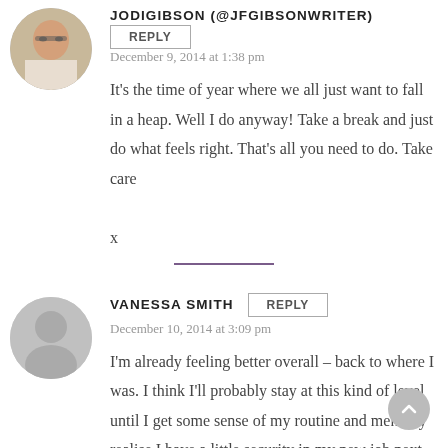JODIGIBSON (@JFGIBSONWRITER)
REPLY
December 9, 2014 at 1:38 pm
It's the time of year where we all just want to fall in a heap. Well I do anyway! Take a break and just do what feels right. That's all you need to do. Take care
x
VANESSA SMITH
REPLY
December 10, 2014 at 3:09 pm
I'm already feeling better overall – back to where I was. I think I'll probably stay at this kind of level until I get some sense of my routine and mentally realise I have a little security in my new job next year.